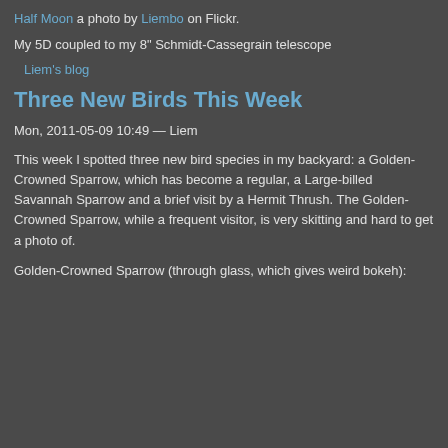Half Moon a photo by Liembo on Flickr.
My 5D coupled to my 8" Schmidt-Cassegrain telescope
Liem's blog
Three New Birds This Week
Mon, 2011-05-09 10:49 — Liem
This week I spotted three new bird species in my backyard: a Golden-Crowned Sparrow, which has become a regular, a Large-billed Savannah Sparrow and a brief visit by a Hermit Thrush. The Golden-Crowned Sparrow, while a frequent visitor, is very skitting and hard to get a photo of.
Golden-Crowned Sparrow (through glass, which gives weird bokeh):